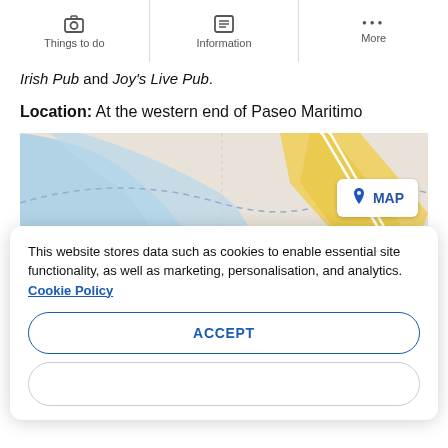Things to do | Information | More
Irish Pub and Joy's Live Pub.
Location: At the western end of Paseo Maritimo
[Figure (map): Street map showing western end of Paseo Maritimo with a MAP button overlay]
This website stores data such as cookies to enable essential site functionality, as well as marketing, personalisation, and analytics. Cookie Policy
ACCEPT